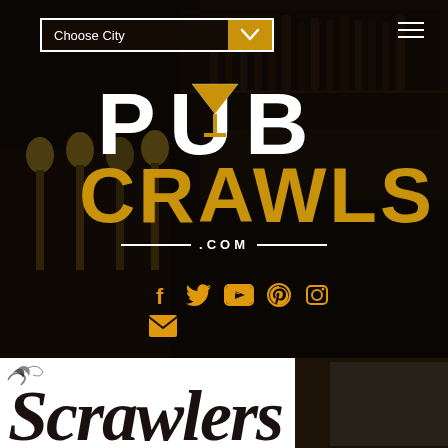[Figure (screenshot): Dark bar interior background photo with beer taps and bottles visible]
[Figure (logo): PubCrawls.com logo — 'PUB' in white block letters with a martini glass icon replacing the 'U', 'CRAWLS' in orange/amber block letters, '.COM' in white with decorative lines on either side]
[Figure (infographic): Social media icons row: Facebook (f), Twitter (bird), YouTube (play button in rectangle), Pinterest (P), Instagram (camera outline) — all in orange/amber color; below them an envelope/email icon also in orange]
[Figure (logo): Scrawlers gothic/decorative typography logo in black on white background, partially visible at bottom of page]